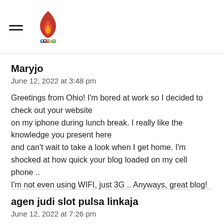Bahrain Olympic Committee
Maryjo
June 12, 2022 at 3:48 pm
Greetings from Ohio! I'm bored at work so I decided to check out your website on my iphone during lunch break. I really like the knowledge you present here and can't wait to take a look when I get home. I'm shocked at how quick your blog loaded on my cell phone .. I'm not even using WIFI, just 3G .. Anyways, great blog!
agen judi slot pulsa linkaja
June 12, 2022 at 7:26 pm